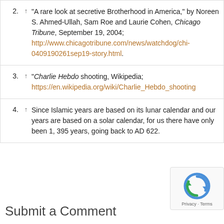2. ↑ "A rare look at secretive Brotherhood in America," by Noreen S. Ahmed-Ullah, Sam Roe and Laurie Cohen, Chicago Tribune, September 19, 2004; http://www.chicagotribune.com/news/watchdog/chi-0409190261sep19-story.html.
3. ↑ "Charlie Hebdo shooting, Wikipedia; https://en.wikipedia.org/wiki/Charlie_Hebdo_shooting
4. ↑ Since Islamic years are based on its lunar calendar and our years are based on a solar calendar, for us there have only been 1, 395 years, going back to AD 622.
Submit a Comment